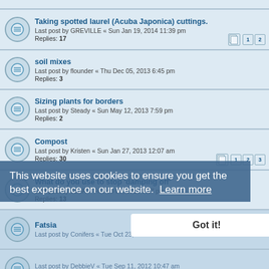Taking spotted laurel (Acuba Japonica) cuttings. Last post by GREVILLE « Sun Jan 19, 2014 11:39 pm Replies: 17
soil mixes Last post by flounder « Thu Dec 05, 2013 6:45 pm Replies: 3
Sizing plants for borders Last post by Steady « Sun May 12, 2013 7:59 pm Replies: 2
Compost Last post by Kristen « Sun Jan 27, 2013 12:07 am Replies: 30
What do you use to stop 'damping off' Last post by JoelR « Fri Feb 08, 2013 9:27 pm Replies: 13
Fatsia Last post by Conifers « Tue Oct 23, 2012 10:25 am
Last post by DebbieV « Tue Sep 11, 2012 10:47 am Replies: 49
Home made root fertiliser Last post by Vagetarian « Sun Jul 29, 2012 9:08 am Replies: 2
Slate and Bark chippings night!
This website uses cookies to ensure you get the best experience on our website. Learn more
Got it!